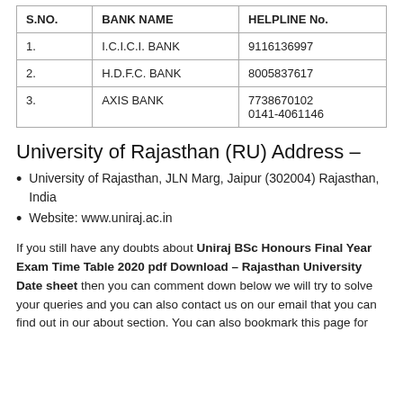| S.NO. | BANK NAME | HELPLINE No. |
| --- | --- | --- |
| 1. | I.C.I.C.I. BANK | 9116136997 |
| 2. | H.D.F.C. BANK | 8005837617 |
| 3. | AXIS BANK | 7738670102
0141-4061146 |
University of Rajasthan (RU) Address –
University of Rajasthan, JLN Marg, Jaipur (302004) Rajasthan, India
Website: www.uniraj.ac.in
If you still have any doubts about Uniraj BSc Honours Final Year Exam Time Table 2020 pdf Download – Rajasthan University Date sheet then you can comment down below we will try to solve your queries and you can also contact us on our email that you can find out in our about section. You can also bookmark this page for